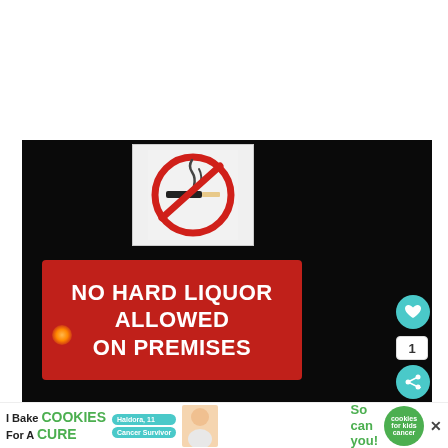[Figure (photo): Nighttime photo showing a white no-smoking sign (red circle with diagonal slash over a cigarette icon) mounted above a red rectangular sign reading 'NO HARD LIQUOR ALLOWED ON PREMISES' in large white bold letters. A warm light glows near the bottom-left of the image. UI overlay elements include a teal heart/like button, a share button, a count badge showing '1', and a 'WHAT'S NEXT' panel with thumbnail and text 'I Let My Teenager Ge...']
[Figure (other): Advertisement banner at bottom: 'I Bake COOKIES For A CURE' with cookies for kids cancer branding and 'So can you!' text. Features a photo of a smiling person and green circle logo.]